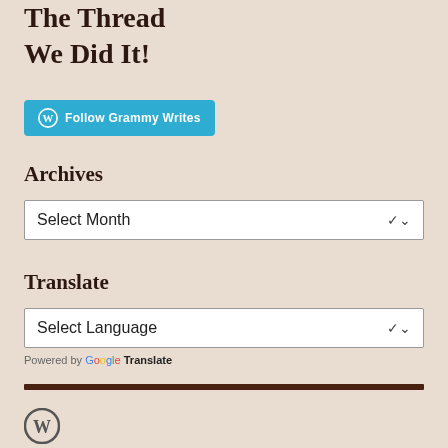The Thread
We Did It!
[Figure (logo): Follow Grammy Writes button with WordPress logo]
Archives
[Figure (other): Select Month dropdown control]
Translate
[Figure (other): Select Language dropdown control]
Powered by Google Translate
[Figure (logo): WordPress logo footer icon]